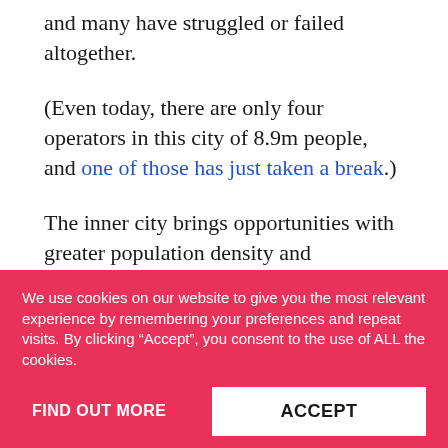and many have struggled or failed altogether.
(Even today, there are only four operators in this city of 8.9m people, and one of those has just taken a break.)
The inner city brings opportunities with greater population density and
We use cookies on our website to give you the most relevant experience by remembering your preferences and repeat visits. By clicking “Accept”, you consent to the use of ALL the cookies.
FIND OUT MORE
ACCEPT